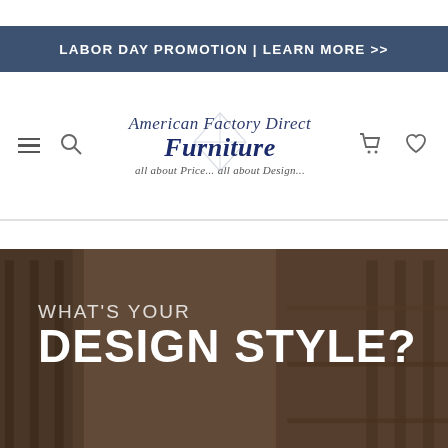LABOR DAY PROMOTION | LEARN MORE >>
[Figure (logo): American Factory Direct Furniture logo with script text and tagline 'all about Price... all about Design...' with decorative diamond/compass graphic]
[Figure (photo): Hero banner image of furniture/interior with overlay text 'WHAT'S YOUR DESIGN STYLE?']
WHAT'S YOUR DESIGN STYLE?